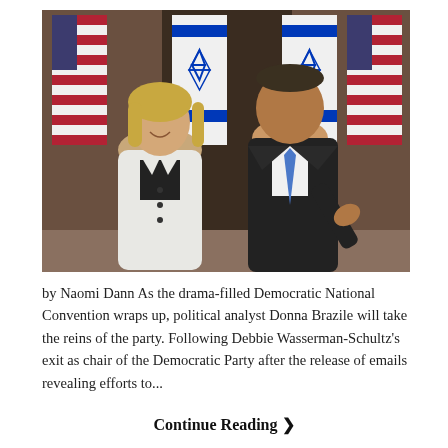[Figure (photo): Two people standing together in front of American and Israeli flags. A woman in a white jacket on the left and a man in a dark suit with a blue tie on the right, gesturing with his right hand.]
by Naomi Dann As the drama-filled Democratic National Convention wraps up, political analyst Donna Brazile will take the reins of the party. Following Debbie Wasserman-Schultz's exit as chair of the Democratic Party after the release of emails revealing efforts to...
Continue Reading ❯